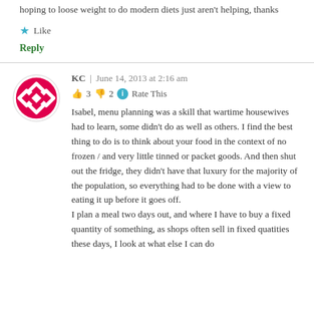hoping to loose weight to do modern diets just aren't helping, thanks
★ Like
Reply
KC | June 14, 2013 at 2:16 am
👍 3 👎 2 ℹ Rate This
Isabel, menu planning was a skill that wartime housewives had to learn, some didn't do as well as others. I find the best thing to do is to think about your food in the context of no frozen / and very little tinned or packet goods. And then shut out the fridge, they didn't have that luxury for the majority of the population, so everything had to be done with a view to eating it up before it goes off.
I plan a meal two days out, and where I have to buy a fixed quantity of something, as shops often sell in fixed quatities these days, I look at what else I can do